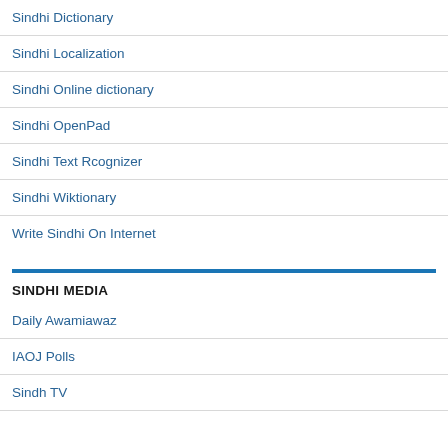Sindhi Dictionary
Sindhi Localization
Sindhi Online dictionary
Sindhi OpenPad
Sindhi Text Rcognizer
Sindhi Wiktionary
Write Sindhi On Internet
SINDHI MEDIA
Daily Awamiawaz
IAOJ Polls
Sindh TV